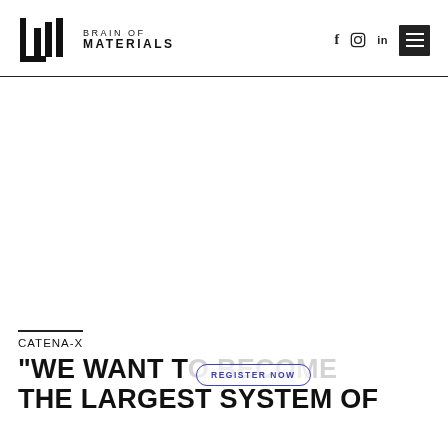[Figure (logo): Brain of Materials logo — bar-chart style icon with three vertical bars and an L-shaped bracket, followed by text 'BRAIN OF MATERIALS']
CATENA-X
"WE WANT TO BECOME THE LARGEST SYSTEM OF